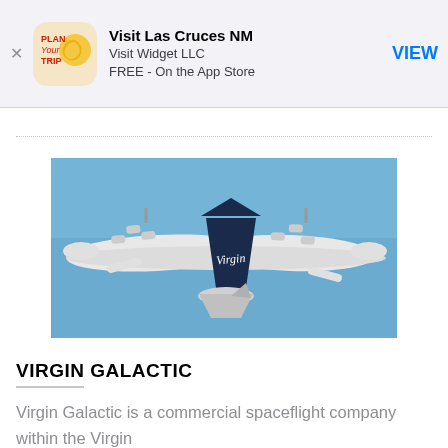[Figure (screenshot): App store banner for 'Visit Las Cruces NM' by Visit Widget LLC, FREE on the App Store, with VIEW button and app icon showing PLAN YOUR TRIP logo with sun]
[Figure (photo): Aerial photo of Virgin Galactic WhiteKnightTwo carrier aircraft with SpaceShipTwo attached, viewed from below against blue sky, with Virgin branding on dark tail fin]
VIRGIN GALACTIC
Virgin Galactic is a commercial spaceflight company within the Virgin